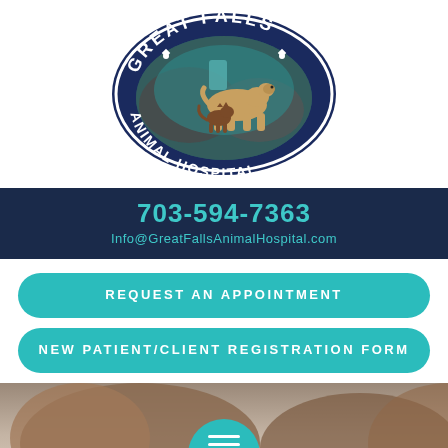[Figure (logo): Great Falls Animal Hospital oval logo with dark navy blue border, featuring a golden dog and brown cat standing on teal/grey rocky terrain. Text 'GREAT FALLS' at top and 'ANIMAL HOSPITAL' at bottom in white letters on navy background.]
703-594-7363
Info@GreatFallsAnimalHospital.com
REQUEST AN APPOINTMENT
NEW PATIENT/CLIENT REGISTRATION FORM
[Figure (photo): Partial photo of a person holding or near a dog, with a teal hamburger menu button visible at center bottom.]